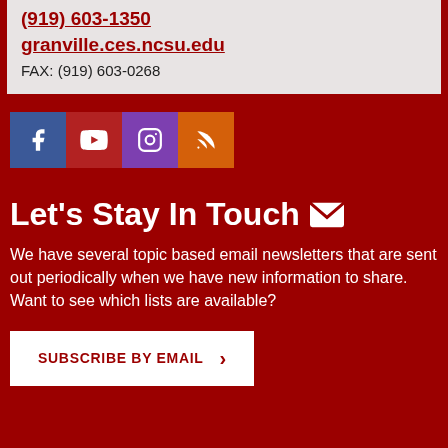(919) 603-1350
granville.ces.ncsu.edu
FAX: (919) 603-0268
[Figure (infographic): Row of four social media icons: Facebook (blue), YouTube (red), Instagram (purple), RSS feed (orange)]
Let's Stay In Touch
We have several topic based email newsletters that are sent out periodically when we have new information to share. Want to see which lists are available?
SUBSCRIBE BY EMAIL  >